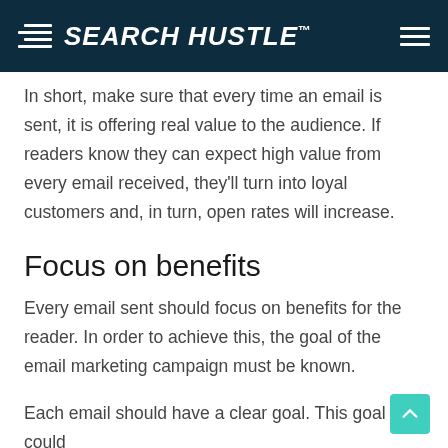SEARCH HUSTLE
In short, make sure that every time an email is sent, it is offering real value to the audience. If readers know they can expect high value from every email received, they'll turn into loyal customers and, in turn, open rates will increase.
Focus on benefits
Every email sent should focus on benefits for the reader. In order to achieve this, the goal of the email marketing campaign must be known.
Each email should have a clear goal. This goal could